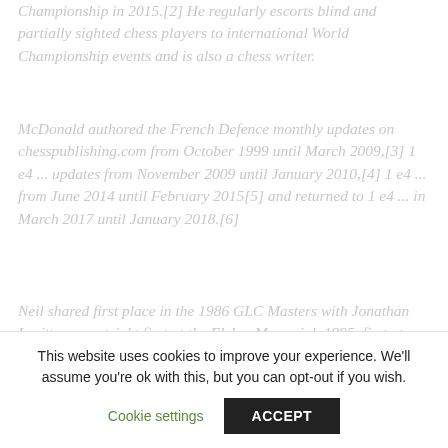Championship in 2015.[2] He regularly escorts blind and partially sighted chess players to international World Championship events and is also a chess writer.
McDonald authored the French Defence monthly updates on chesspublishing.com from October 1999 until March 2009,[3] 1 e4 ... updates from November 2009 until January 2010,[4] 1 e4 ... from June 2014 until February 2015[5] and returned to 1 e4 ... in March 2017 until January 2018.[6]
Neil shared first place in the 1986 GLC Masters with Jonathan Levitt, was outright first at the Elekes Memorial, 1995, first at The Leinster IM Tournament in Dublin, 1997, and other tournaments since. Neil plays
This website uses cookies to improve your experience. We'll assume you're ok with this, but you can opt-out if you wish.